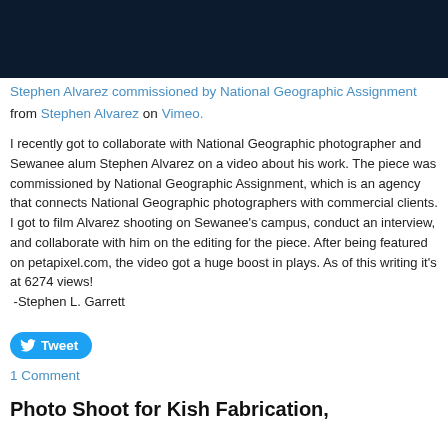[Figure (screenshot): Dark navy blue banner image at top of page, partially cropped]
Stephen Alvarez commissioned by National Geographic Assignment from Stephen Alvarez on Vimeo.
I recently got to collaborate with National Geographic photographer and Sewanee alum Stephen Alvarez on a video about his work. The piece was commissioned by National Geographic Assignment, which is an agency that connects National Geographic photographers with commercial clients. I got to film Alvarez shooting on Sewanee's campus, conduct an interview, and collaborate with him on the editing for the piece. After being featured on petapixel.com, the video got a huge boost in plays. As of this writing it's at 6274 views! -Stephen L. Garrett
Tweet
1 Comment
Photo Shoot for Kish Fabrication,